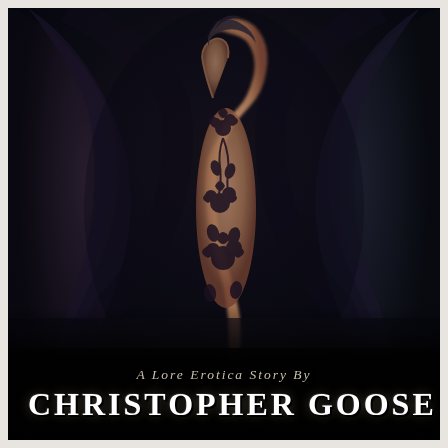[Figure (illustration): Dark fantasy book cover illustration showing a figure with dark floral/vine tattoos covering their body, posed with one arm raised behind their head, against a very dark background with large dark wing-like shapes (bat wings or demon wings) spread on either side. The overall tone is very dark and atmospheric.]
A Lore Erotica Story By
Christopher Goose